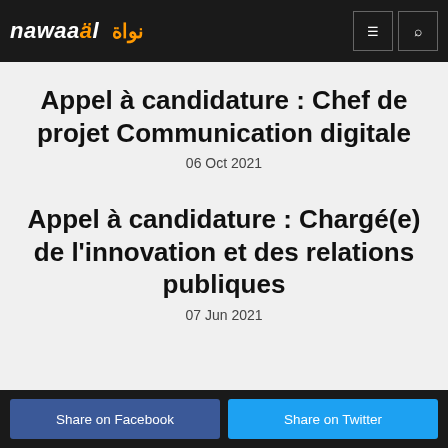nawaäl نواة
Appel à candidature : Chef de projet Communication digitale
06 Oct 2021
Appel à candidature : Chargé(e) de l'innovation et des relations publiques
07 Jun 2021
Share on Facebook  Share on Twitter